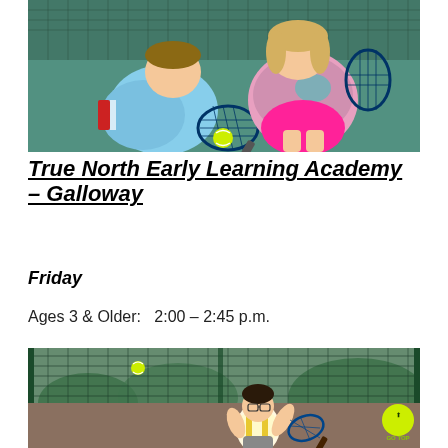[Figure (photo): Two children sitting on a tennis court holding rackets and a tennis ball, viewed from above]
True North Early Learning Academy – Galloway
Friday
Ages 3 & Older:   2:00 – 2:45 p.m.
[Figure (photo): A child playing tennis on an outdoor court with a chain-link fence in the background]